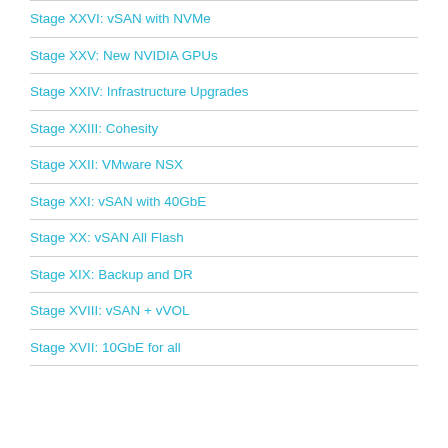Stage XXVI: vSAN with NVMe
Stage XXV: New NVIDIA GPUs
Stage XXIV: Infrastructure Upgrades
Stage XXIII: Cohesity
Stage XXII: VMware NSX
Stage XXI: vSAN with 40GbE
Stage XX: vSAN All Flash
Stage XIX: Backup and DR
Stage XVIII: vSAN + vVOL
Stage XVII: 10GbE for all